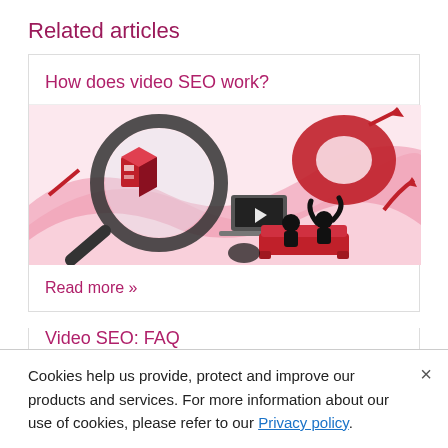Related articles
How does video SEO work?
[Figure (illustration): Isometric illustration of video SEO concept with magnifying glass, red 3D shapes, arrows, laptop showing video, and silhouettes of people on a couch]
Read more »
Video SEO: FAQ
Cookies help us provide, protect and improve our products and services. For more information about our use of cookies, please refer to our Privacy policy.